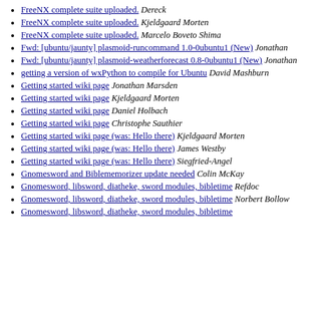FreeNX complete suite uploaded.  Dereck
FreeNX complete suite uploaded.  Kjeldgaard Morten
FreeNX complete suite uploaded.  Marcelo Boveto Shima
Fwd: [ubuntu/jaunty] plasmoid-runcommand 1.0-0ubuntu1 (New)  Jonathan
Fwd: [ubuntu/jaunty] plasmoid-weatherforecast 0.8-0ubuntu1 (New)  Jonathan
getting a version of wxPython to compile for Ubuntu  David Mashburn
Getting started wiki page  Jonathan Marsden
Getting started wiki page  Kjeldgaard Morten
Getting started wiki page  Daniel Holbach
Getting started wiki page  Christophe Sauthier
Getting started wiki page (was: Hello there)  Kjeldgaard Morten
Getting started wiki page (was: Hello there)  James Westby
Getting started wiki page (was: Hello there)  Siegfried-Angel
Gnomesword and Biblememorizer update needed  Colin McKay
Gnomesword, libsword, diatheke, sword modules, bibletime  Refdoc
Gnomesword, libsword, diatheke, sword modules, bibletime  Norbert Bollow
Gnomesword, libsword, diatheke, sword modules, bibletime